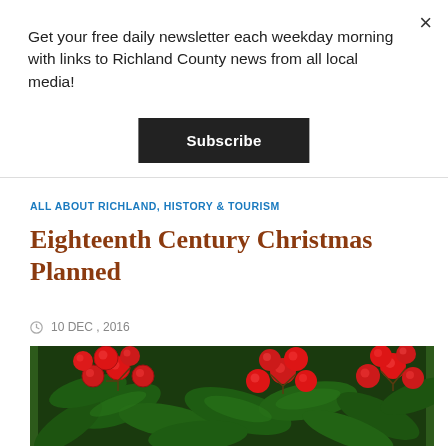Get your free daily newsletter each weekday morning with links to Richland County news from all local media!
Subscribe
×
ALL ABOUT RICHLAND, HISTORY & TOURISM
Eighteenth Century Christmas Planned
10 DEC , 2016
[Figure (photo): Close-up photo of red holly berries with dark green leaves, a Christmas/holiday themed image.]